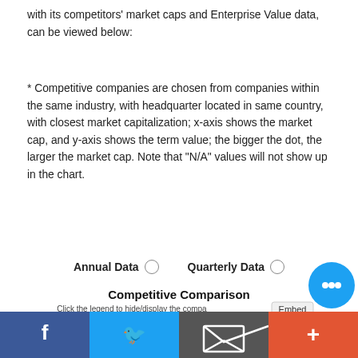with its competitors' market caps and Enterprise Value data, can be viewed below:
* Competitive companies are chosen from companies within the same industry, with headquarter located in same country, with closest market capitalization; x-axis shows the market cap, and y-axis shows the term value; the bigger the dot, the larger the market cap. Note that "N/A" values will not show up in the chart.
Annual Data   Quarterly Data
[Figure (bubble-chart): Bubble/scatter chart showing competitive comparison with y-axis from 50k to 150k. Two large overlapping bubbles (red/pink and blue/purple) near 100k-125k range, and a small yellow-green bubble near 50k. Light blue background chart area.]
[Figure (other): Social media share bar at bottom: Facebook (blue), Twitter (light blue), Email (dark gray), Plus/share (orange-red). Chat bubble icon bottom right.]